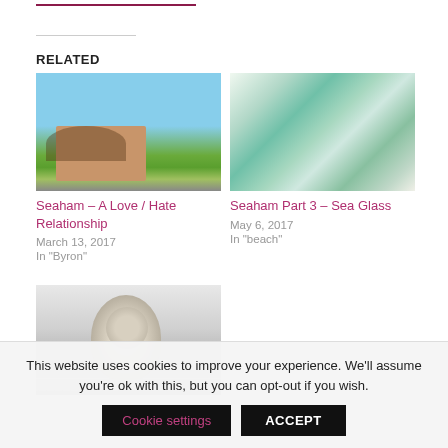RELATED
[Figure (photo): Photograph of a house with bare trees against a blue sky, green lawn in foreground]
Seaham – A Love / Hate Relationship
March 13, 2017
In "Byron"
[Figure (photo): Close-up photograph of sea glass pieces in various shades of green, teal, blue, and white]
Seaham Part 3 – Sea Glass
May 6, 2017
In "beach"
[Figure (photo): Black and white portrait photograph of a young man in formal attire]
This website uses cookies to improve your experience. We'll assume you're ok with this, but you can opt-out if you wish.
Cookie settings
ACCEPT